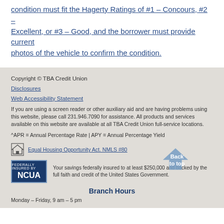condition must fit the Hagerty Ratings of #1 – Concours, #2 – Excellent, or #3 – Good, and the borrower must provide current photos of the vehicle to confirm the condition.
Copyright © TBA Credit Union
Disclosures
Web Accessibility Statement
If you are using a screen reader or other auxiliary aid and are having problems using this website, please call 231.946.7090 for assistance. All products and services available on this website are available at all TBA Credit Union full-service locations.
^APR = Annual Percentage Rate | APY = Annual Percentage Yield
Equal Housing Opportunity Act. NMLS #80
Your savings federally insured to at least $250,000 and backed by the full faith and credit of the United States Government.
Branch Hours
Monday – Friday, 9 am – 5 pm